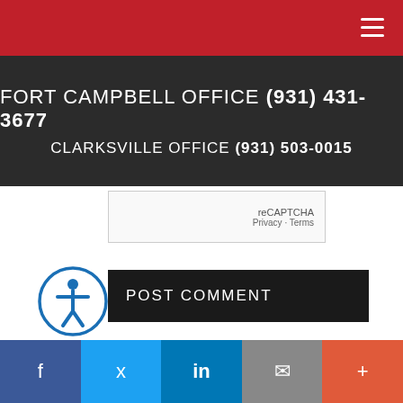FORT CAMPBELL OFFICE (931) 431-3677
CLARKSVILLE OFFICE (931) 503-0015
[Figure (screenshot): Partial reCAPTCHA widget showing reCAPTCHA label with Privacy and Terms links]
[Figure (screenshot): POST COMMENT button, dark background with white uppercase text]
NOTICE: This blog and website are made available by the publisher for educational and informational purposes only. It is not be used as a substitute for competent insurance, legal, or tax advice from a licensed professional in your state. By using this blog site you understand that there is no broker client relationship between you and the blog and website publisher.
[Figure (logo): Circular accessibility icon (person symbol in blue circle)]
Facebook | Twitter | LinkedIn | Email | More